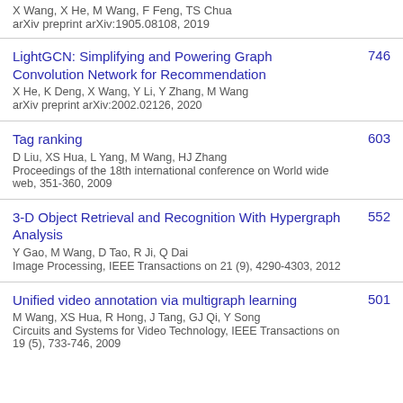X Wang, X He, M Wang, F Feng, TS Chua
arXiv preprint arXiv:1905.08108, 2019
LightGCN: Simplifying and Powering Graph Convolution Network for Recommendation | 746 | X He, K Deng, X Wang, Y Li, Y Zhang, M Wang | arXiv preprint arXiv:2002.02126, 2020
Tag ranking | 603 | D Liu, XS Hua, L Yang, M Wang, HJ Zhang | Proceedings of the 18th international conference on World wide web, 351-360, 2009
3-D Object Retrieval and Recognition With Hypergraph Analysis | 552 | Y Gao, M Wang, D Tao, R Ji, Q Dai | Image Processing, IEEE Transactions on 21 (9), 4290-4303, 2012
Unified video annotation via multigraph learning | 501 | M Wang, XS Hua, R Hong, J Tang, GJ Qi, Y Song | Circuits and Systems for Video Technology, IEEE Transactions on 19 (5), 733-746, 2009